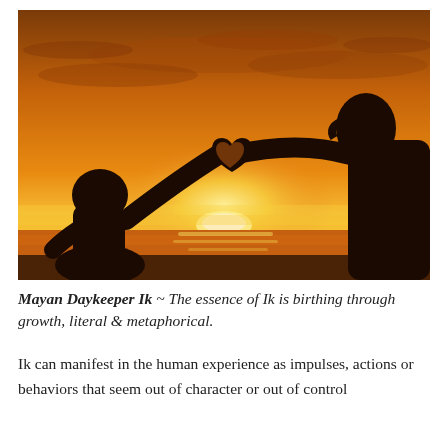[Figure (photo): Silhouette of two people forming a heart shape with their hands against a vivid orange and golden sunset sky over water]
Mayan Daykeeper Ik ~ The essence of Ik is birthing through growth, literal & metaphorical.
Ik can manifest in the human experience as impulses, actions or behaviors that seem out of character or out of control